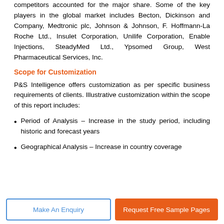competitors accounted for the major share. Some of the key players in the global market includes Becton, Dickinson and Company, Medtronic plc, Johnson & Johnson, F. Hoffmann-La Roche Ltd., Insulet Corporation, Unilife Corporation, Enable Injections, SteadyMed Ltd., Ypsomed Group, West Pharmaceutical Services, Inc.
Scope for Customization
P&S Intelligence offers customization as per specific business requirements of clients. Illustrative customization within the scope of this report includes:
Period of Analysis – Increase in the study period, including historic and forecast years
Geographical Analysis – Increase in country coverage
Make An Enquiry | Request Free Sample Pages